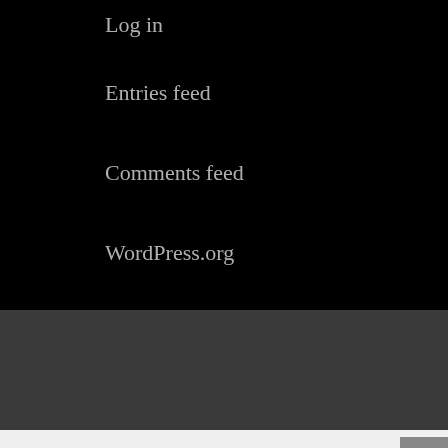Log in
Entries feed
Comments feed
WordPress.org
Privacy Policy | Terms & Conditions | Cookie Notice
We use cookies to optimize our website and our service.
Accept
Cookie Policy   Privacy Policy